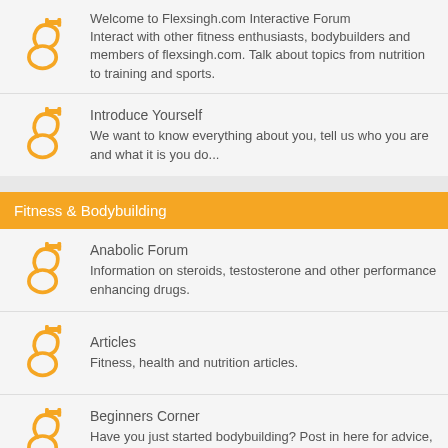Welcome to Flexsingh.com Interactive Forum
Interact with other fitness enthusiasts, bodybuilders and members of flexsingh.com. Talk about topics from nutrition to training and sports.
Introduce Yourself
We want to know everything about you, tell us who you are and what it is you do...
Fitness & Bodybuilding
Anabolic Forum
Information on steroids, testosterone and other performance enhancing drugs.
Articles
Fitness, health and nutrition articles.
Beginners Corner
Have you just started bodybuilding? Post in here for advice, training tips and exercises.